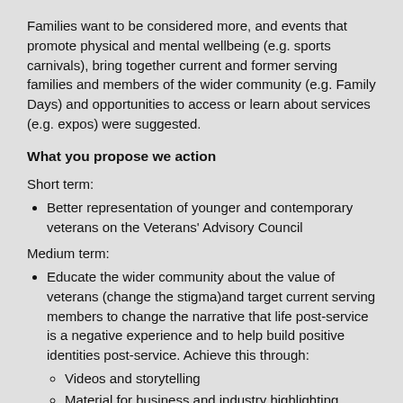Families want to be considered more, and events that promote physical and mental wellbeing (e.g. sports carnivals), bring together current and former serving families and members of the wider community (e.g. Family Days) and opportunities to access or learn about services (e.g. expos) were suggested.
What you propose we action
Short term:
Better representation of younger and contemporary veterans on the Veterans' Advisory Council
Medium term:
Educate the wider community about the value of veterans (change the stigma)and target current serving members to change the narrative that life post-service is a negative experience and to help build positive identities post-service. Achieve this through:
Videos and storytelling
Material for business and industry highlighting